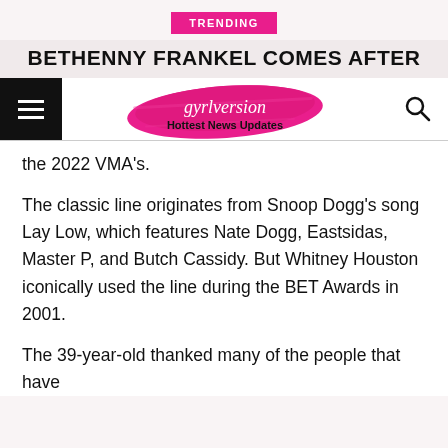TRENDING
BETHENNY FRANKEL COMES AFTER
[Figure (logo): gyrlversion Hottest News Updates logo — pink brushstroke background with script and bold text]
the 2022 VMA's.
The classic line originates from Snoop Dogg's song Lay Low, which features Nate Dogg, Eastsidas, Master P, and Butch Cassidy. But Whitney Houston iconically used the line during the BET Awards in 2001.
The 39-year-old thanked many of the people that have